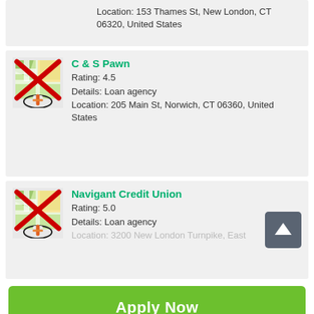Location: 153 Thames St, New London, CT 06320, United States
C & S Pawn
Rating: 4.5
Details: Loan agency
Location: 205 Main St, Norwich, CT 06360, United States
Navigant Credit Union
Rating: 5.0
Details: Loan agency
Location: 3200 New London Turnpike, East...
Apply Now
Applying does NOT affect your credit score!
No credit check to apply.